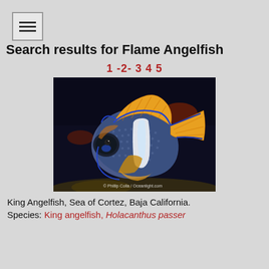[Figure (screenshot): Hamburger menu icon button with three horizontal lines]
Search results for Flame Angelfish
1 -2- 3 4 5
[Figure (photo): King Angelfish photographed underwater in the Sea of Cortez, Baja California. The fish has a blue body with yellow fins and a white vertical stripe. Watermark reads: © Phillip Colla / Oceanlight.com]
King Angelfish, Sea of Cortez, Baja California. Species: King angelfish, Holacanthus passer